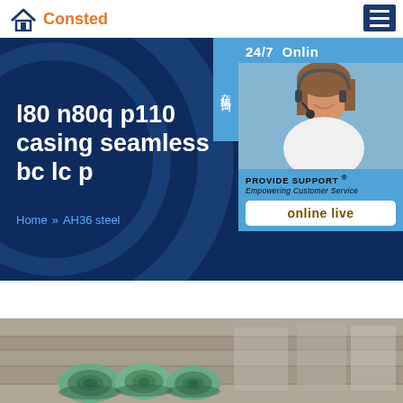[Figure (logo): Consted logo with house icon in orange/blue and orange text]
[Figure (screenshot): Navigation menu hamburger button (dark blue)]
l80 n80q p110 casing seamless bc lc p
Home » AH36 steel
[Figure (photo): 24/7 Online support widget with woman wearing headset, Provide Support Empowering Customer Service, online live button, and Chinese sidebar text 在线咨询]
[Figure (photo): Bottom product image showing steel coils/rolls on wooden surface]